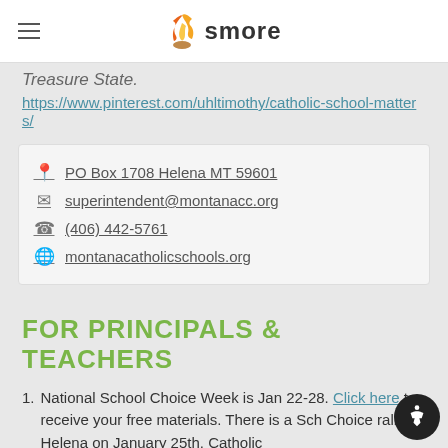smore
Treasure State.
https://www.pinterest.com/uhltimothy/catholic-school-matters/
| 📍 | PO Box 1708 Helena MT 59601 |
| ✉ | superintendent@montanacc.org |
| ☎ | (406) 442-5761 |
| 🌐 | montanacatholicschools.org |
FOR PRINCIPALS & TEACHERS
National School Choice Week is Jan 22-28. Click here to receive your free materials. There is a School Choice rally in Helena on January 25th. Catholic